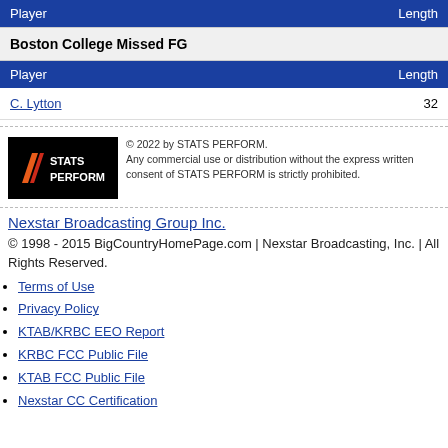| Player | Length |
| --- | --- |
Boston College Missed FG
| Player | Length |
| --- | --- |
| C. Lytton | 32 |
[Figure (logo): STATS PERFORM logo — black background with stylized orange/red chevron and white text]
© 2022 by STATS PERFORM. Any commercial use or distribution without the express written consent of STATS PERFORM is strictly prohibited.
Nexstar Broadcasting Group Inc.
© 1998 - 2015 BigCountryHomePage.com | Nexstar Broadcasting, Inc. | All Rights Reserved.
Terms of Use
Privacy Policy
KTAB/KRBC EEO Report
KRBC FCC Public File
KTAB FCC Public File
Nexstar CC Certification